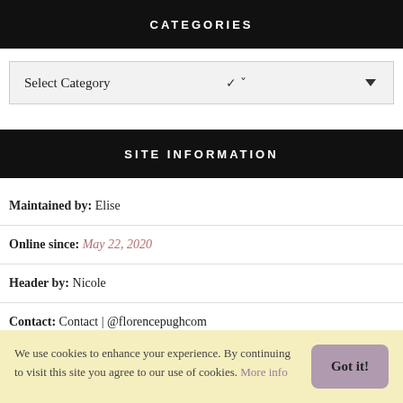CATEGORIES
Select Category
SITE INFORMATION
Maintained by: Elise
Online since: May 22, 2020
Header by: Nicole
Contact: Contact | @florencepughcom
Visitors: 32115 Visits | 1 Online User
We use cookies to enhance your experience. By continuing to visit this site you agree to our use of cookies. More info